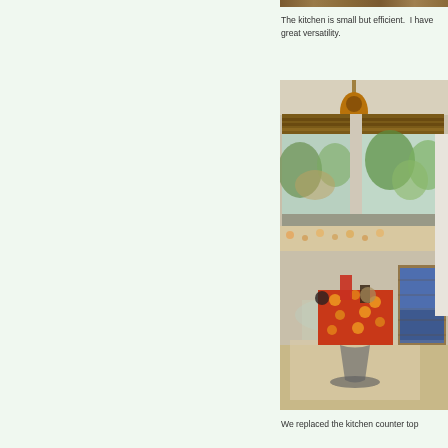[Figure (photo): Partial top edge of a photo, likely a kitchen surface or counter, cropped at the very top of the page]
The kitchen is small but efficient.  I have great versatility.
[Figure (photo): Interior dining nook with a glass table, colorful table runner, wicker chair with blue cushion, bamboo blinds on windows, pendant lamp, and a view of trees outside]
We replaced the kitchen counter top